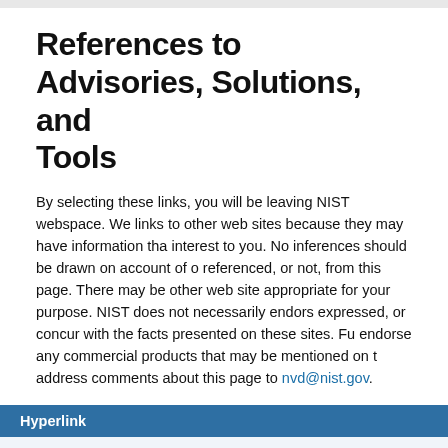References to Advisories, Solutions, and Tools
By selecting these links, you will be leaving NIST webspace. We have provided links to other web sites because they may have information that would be of interest to you. No inferences should be drawn on account of other sites being referenced, or not, from this page. There may be other web sites that are more appropriate for your purpose. NIST does not necessarily endorse the views expressed, or concur with the facts presented on these sites. Further, NIST does not endorse any commercial products that may be mentioned on these sites. Please address comments about this page to nvd@nist.gov.
| Hyperlink |
| --- |
| http://securitytracker.com/id?1023172 |
| http://www.secureworks.com/ctu/advisories/SWRX-2009-002 |
| http://www.securityfocus.com/archive/1/507822/100/0/threade... |